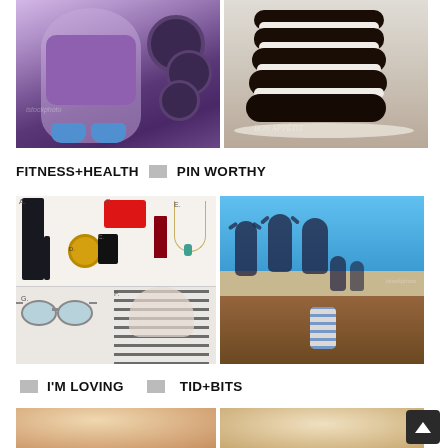[Figure (photo): Two photos side by side: left shows a woman in a gym wearing purple tank top taking a selfie, blue sneakers visible; right shows chocolate sandwich cookies stacked on a plate with 'Bon Appetit' watermark]
FITNESS+HEALTH    PIN WORTHY
[Figure (photo): Two photos side by side: left shows a fashion collage with clothing items labeled A-G including black pants, red clutch, leopard watch, lipstick, necklace, sunglasses, and a woman in striped shirt; right shows group of people jumping off a dock into the ocean]
I'M LOVING    TID+BITS
[Figure (photo): Partial view of two photos at bottom of page]